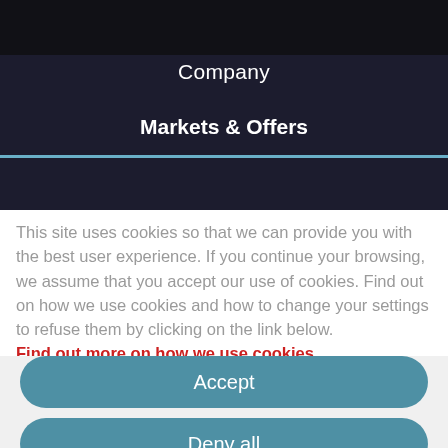Company
Markets & Offers
This site uses cookies so that we can provide you with the best user experience. If you continue your browsing, we assume that you accept our use of cookies. Find out on how we use cookies and how to change your settings to refuse them by clicking on the link below. Find out more on how we use cookies
Accept
Deny all